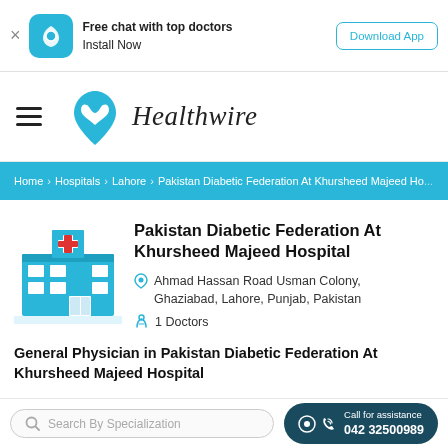Free chat with top doctors Install Now | Download App
[Figure (logo): Healthwire logo with teal heart-shaped icon and italic text 'Healthwire']
Home > Hospitals > Lahore > Pakistan Diabetic Federation At Khursheed Majeed Ho...
Pakistan Diabetic Federation At Khursheed Majeed Hospital
Ahmad Hassan Road Usman Colony, Ghaziabad, Lahore, Punjab, Pakistan
1 Doctors
General Physician in Pakistan Diabetic Federation At Khursheed Majeed Hospital
Search By Specialization
Call for assistance 042 32500989